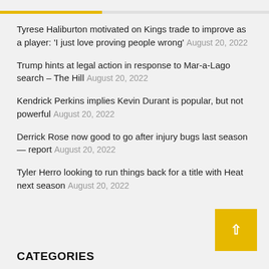Tyrese Haliburton motivated on Kings trade to improve as a player: 'I just love proving people wrong' August 20, 2022
Trump hints at legal action in response to Mar-a-Lago search – The Hill August 20, 2022
Kendrick Perkins implies Kevin Durant is popular, but not powerful August 20, 2022
Derrick Rose now good to go after injury bugs last season — report August 20, 2022
Tyler Herro looking to run things back for a title with Heat next season August 20, 2022
CATEGORIES